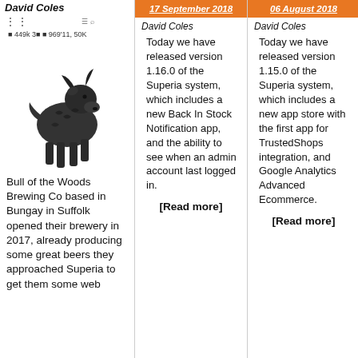David Coles
[Figure (screenshot): Mobile app header with menu icon and navigation bar showing breadcrumb text]
[Figure (illustration): Black ink illustration of a bull]
Bull of the Woods Brewing Co based in Bungay in Suffolk opened their brewery in 2017, already producing some great beers they approached Superia to get them some web
17 September 2018
David Coles
Today we have released version 1.16.0 of the Superia system, which includes a new Back In Stock Notification app, and the ability to see when an admin account last logged in.
[Read more]
06 August 2018
David Coles
Today we have released version 1.15.0 of the Superia system, which includes a new app store with the first app for TrustedShops integration, and Google Analytics Advanced Ecommerce.
[Read more]